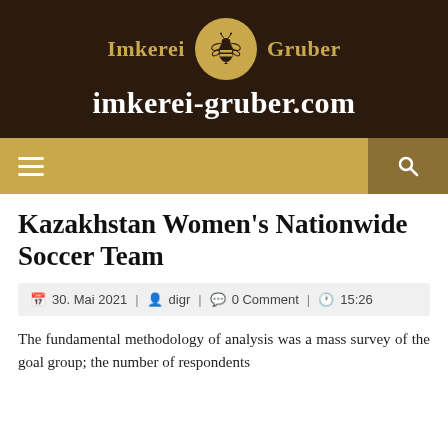[Figure (logo): Imkerei Gruber logo with bee in circular medallion and site URL imkerei-gruber.com on dark brown background]
[Figure (other): Navigation bar with hamburger menu icon on golden/tan background and search icon on darker brown background]
Kazakhstan Women's Nationwide Soccer Team
30. Mai 2021 | digr | 0 Comment | 15:26
The fundamental methodology of analysis was a mass survey of the goal group; the number of respondents